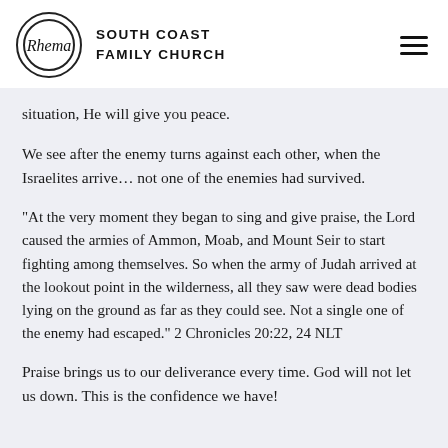Rhema South Coast Family Church
situation, He will give you peace.
We see after the enemy turns against each other, when the Israelites arrive… not one of the enemies had survived.
“At the very moment they began to sing and give praise, the Lord caused the armies of Ammon, Moab, and Mount Seir to start fighting among themselves. So when the army of Judah arrived at the lookout point in the wilderness, all they saw were dead bodies lying on the ground as far as they could see. Not a single one of the enemy had escaped.” 2 Chronicles 20:22, 24 NLT
Praise brings us to our deliverance every time. God will not let us down. This is the confidence we have!